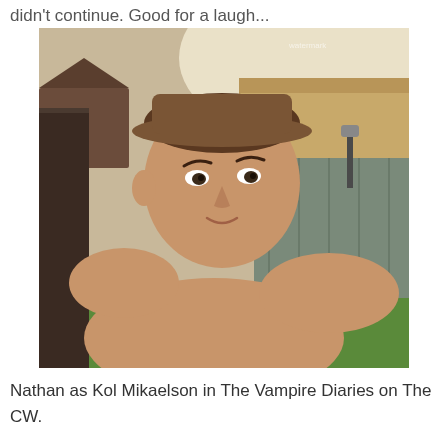didn't continue. Good for a laugh...
[Figure (photo): A shirtless young man wearing a hat, taking a selfie outdoors in a backyard with green grass, fence, and garden in the background.]
Nathan as Kol Mikaelson in The Vampire Diaries on The CW.